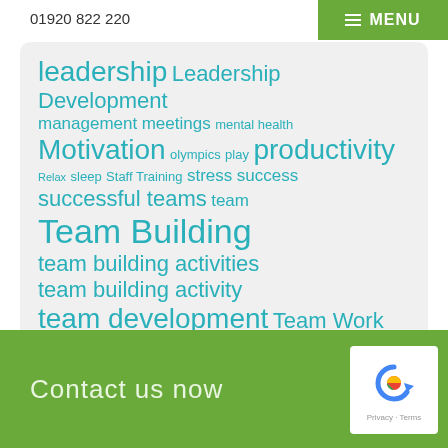MENU
01920 822 220
[Figure (infographic): Word cloud / tag cloud with terms related to leadership, team building, and motivation in teal/cyan color on light gray rounded box. Terms include: leadership, Leadership Development, management, meetings, mental health, Motivation, olympics, play, productivity, Relax, sleep, Staff Training, stress, success, successful teams, team, Team Building, team building activities, team building activity, team development, Team Work, Teamwork, television, Trust, video, Working Together]
Contact us now
[Figure (logo): reCAPTCHA logo with circular arrow icon and 'Privacy - Terms' text below]